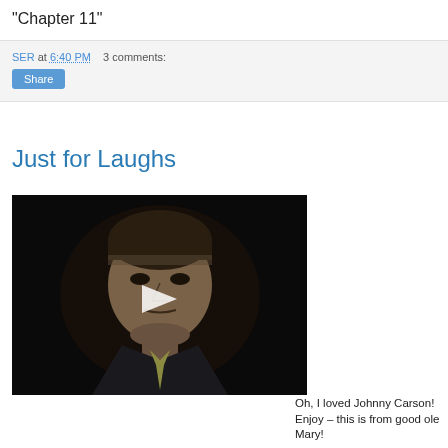"Chapter 11"
SER at 6:40 PM    3 comments:
Share
Just for Laughs
[Figure (photo): Video thumbnail showing a man in a dark suit with a play button overlay, appears to be a television personality]
Oh, I loved Johnny Carson! Enjoy - this is from good ole Mary!